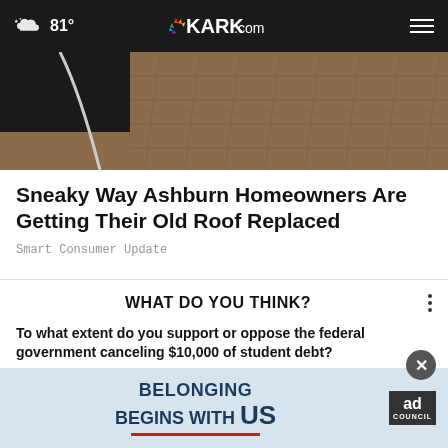81° KARK.com
[Figure (photo): Aerial or close-up photo of a roof with shingles, person visible at upper left]
Sneaky Way Ashburn Homeowners Are Getting Their Old Roof Replaced
Smart Consumer Update
WHAT DO YOU THINK?
To what extent do you support or oppose the federal government canceling $10,000 of student debt?
Strongly support
Somewhat support
Somewhat oppose
[Figure (advertisement): Ad Council banner: BELONGING BEGINS WITH US, blue background with red underline]